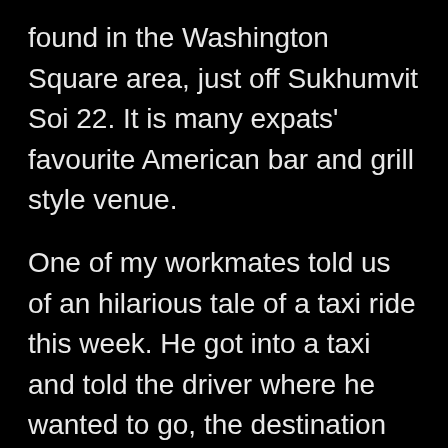found in the Washington Square area, just off Sukhumvit Soi 22. It is many expats' favourite American bar and grill style venue.
One of my workmates told us of an hilarious tale of a taxi ride this week. He got into a taxi and told the driver where he wanted to go, the destination quite some distance away. They had been on the expressway for a while and my colleague couldn't help but notice that the low fuel warning light on the dash had been on for the whole trip. With no gas station close by, my colleague – who speaks very good Thai – casually mentioned to the driver that the said light was on and would it be an idea to get off the expressway to get some gas. The driver then cursed my colleague, saying that by mentioning this